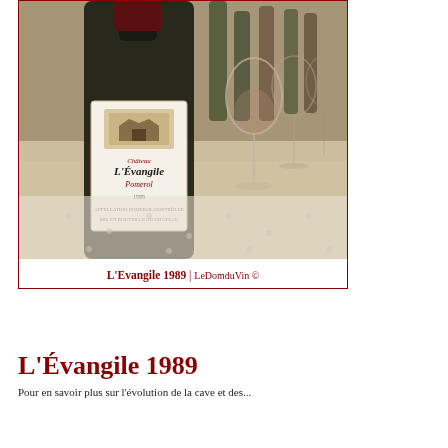[Figure (photo): A bottle of Château L'Évangile 1989 Pomerol wine standing on a white tablecloth, with wine glasses and other bottles visible in the background.]
L'Evangile 1989 | LeDomduVin ©
L'Évangile 1989
Pour en savoir plus sur l'évolution de la cave et des...